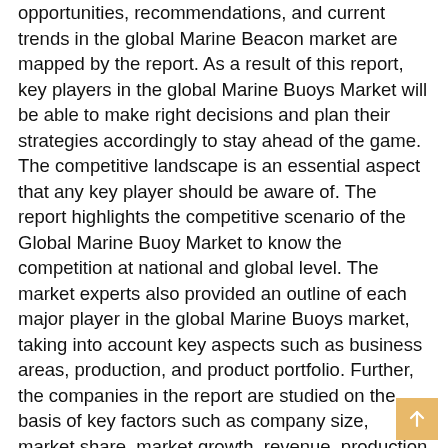opportunities, recommendations, and current trends in the global Marine Beacon market are mapped by the report. As a result of this report, key players in the global Marine Buoys Market will be able to make right decisions and plan their strategies accordingly to stay ahead of the game.
The competitive landscape is an essential aspect that any key player should be aware of. The report highlights the competitive scenario of the Global Marine Buoy Market to know the competition at national and global level. The market experts also provided an outline of each major player in the global Marine Buoys market, taking into account key aspects such as business areas, production, and product portfolio. Further, the companies in the report are studied on the basis of key factors such as company size, market share, market growth, revenue, production volume, and profit.